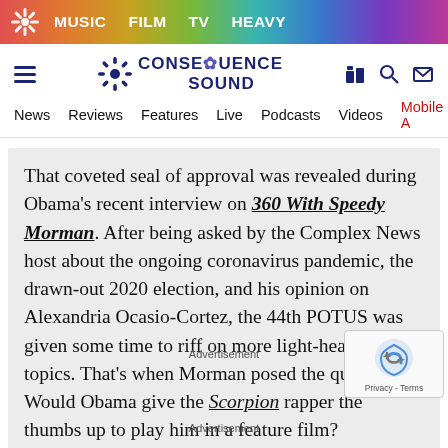MUSIC   FILM   TV   HEAVY
[Figure (logo): Consequence Sound logo with hamburger menu and nav icons]
News   Reviews   Features   Live   Podcasts   Videos   Mobile App
That coveted seal of approval was revealed during Obama's recent interview on 360 With Speedy Morman. After being asked by the Complex News host about the ongoing coronavirus pandemic, the drawn-out 2020 election, and his opinion on Alexandria Ocasio-Cortez, the 44th POTUS was given some time to riff on more light-hearted topics. That's when Morman posed the question: Would Obama give the Scorpion rapper the thumbs up to play him in a feature film?
Advertisement
Advertisement